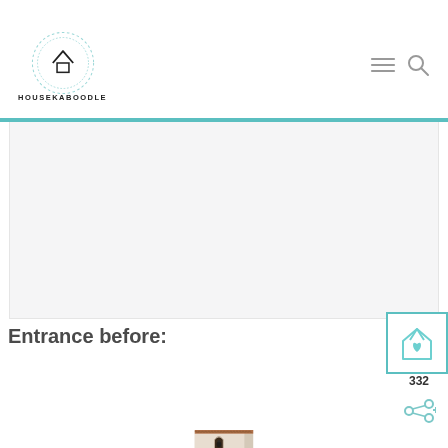HOUSEKABOODLE
[Figure (other): Advertisement placeholder box (light grey rectangle)]
Entrance before:
[Figure (photo): Photo of a house entrance/exterior with terracotta roof tiles and an arched doorway]